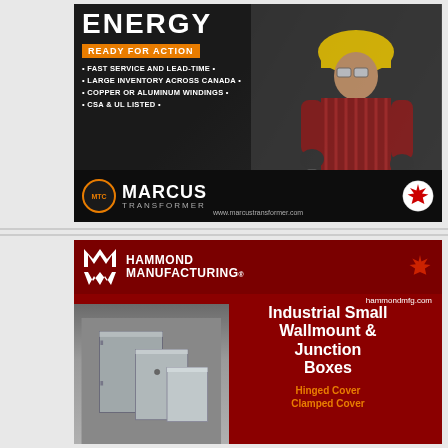[Figure (advertisement): Marcus Transformer advertisement. Dark background with orange diagonal stripe and worker in hard hat and safety glasses. Text: ENERGY / READY FOR ACTION / bullet points: FAST SERVICE AND LEAD-TIME, LARGE INVENTORY ACROSS CANADA, COPPER OR ALUMINUM WINDINGS, CSA & UL LISTED. Bottom band: MTC logo, MARCUS TRANSFORMER name, Canadian maple leaf logo, website www.marcustransformer.com]
[Figure (advertisement): Hammond Manufacturing advertisement. Dark red background. Logo with M and W stylized letters. Text: HAMMOND MANUFACTURING. hammondmfg.com. Industrial Small Wallmount & Junction Boxes. Hinged Cover / Clamped Cover. Shows gray metal enclosure boxes at left. Canadian maple leaf.]